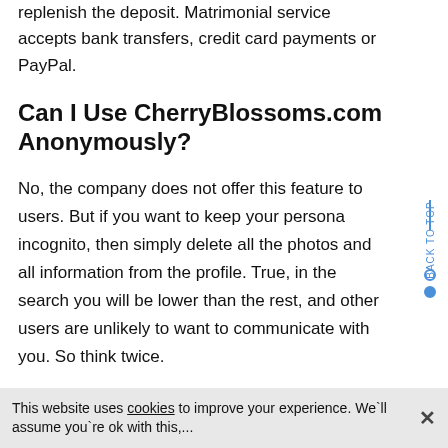replenish the deposit. Matrimonial service accepts bank transfers, credit card payments or PayPal.
Can I Use CherryBlossoms.com Anonymously?
No, the company does not offer this feature to users. But if you want to keep your persona incognito, then simply delete all the photos and all information from the profile. True, in the search you will be lower than the rest, and other users are unlikely to want to communicate with you. So think twice.
This website uses cookies to improve your experience. We`ll assume you`re ok with this,...